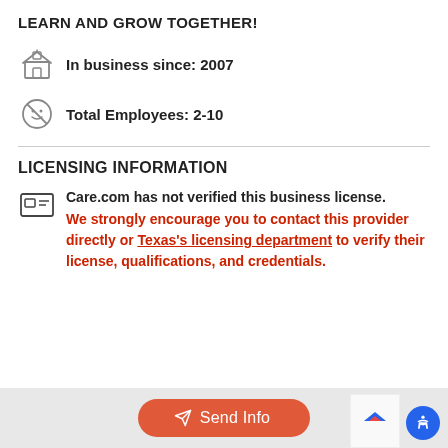LEARN AND GROW TOGETHER!
In business since: 2007
Total Employees: 2-10
LICENSING INFORMATION
Care.com has not verified this business license. We strongly encourage you to contact this provider directly or Texas's licensing department to verify their license, qualifications, and credentials.